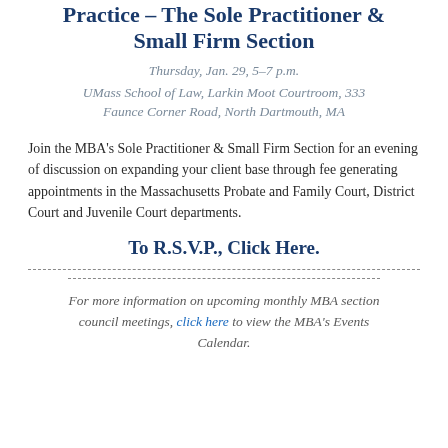Practice – The Sole Practitioner & Small Firm Section
Thursday, Jan. 29, 5–7 p.m.
UMass School of Law, Larkin Moot Courtroom, 333 Faunce Corner Road, North Dartmouth, MA
Join the MBA's Sole Practitioner & Small Firm Section for an evening of discussion on expanding your client base through fee generating appointments in the Massachusetts Probate and Family Court, District Court and Juvenile Court departments.
To R.S.V.P., Click Here.
For more information on upcoming monthly MBA section council meetings, click here to view the MBA's Events Calendar.